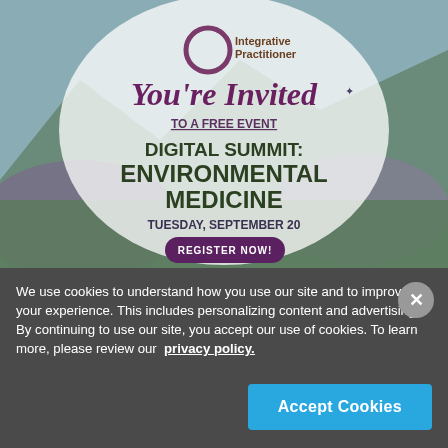[Figure (infographic): Integrative Practitioner advertisement banner showing a nature background with purple flowers and mountains. Features a circular semi-transparent overlay with the Integrative Practitioner logo (circle icon), italic purple text 'You're Invited', dark text 'TO A FREE EVENT', bold dark green text 'DIGITAL SUMMIT: ENVIRONMENTAL MEDICINE', bold dark text 'TUESDAY, SEPTEMBER 20', and a dark purple pill-shaped button reading 'REGISTER NOW!']
We use cookies to understand how you use our site and to improve your experience. This includes personalizing content and advertising. By continuing to use our site, you accept our use of cookies. To learn more, please review our privacy policy.